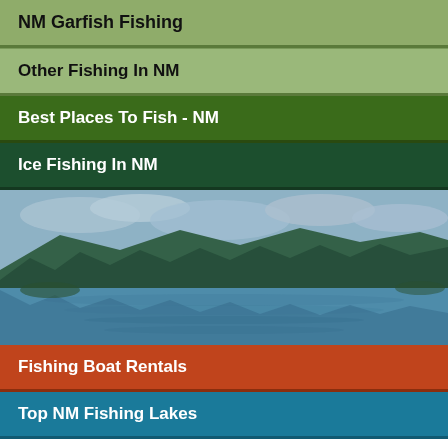NM Garfish Fishing
Other Fishing In NM
Best Places To Fish - NM
Ice Fishing In NM
[Figure (photo): Scenic lake surrounded by green forested hills with cloudy sky reflected in calm blue water]
Fishing Boat Rentals
Top NM Fishing Lakes